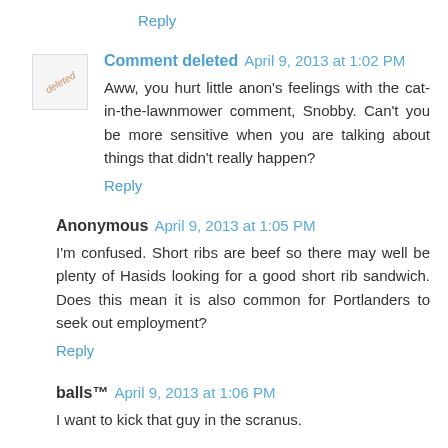Reply
Comment deleted April 9, 2013 at 1:02 PM
Aww, you hurt little anon's feelings with the cat-in-the-lawnmower comment, Snobby. Can't you be more sensitive when you are talking about things that didn't really happen?
Reply
Anonymous April 9, 2013 at 1:05 PM
I'm confused. Short ribs are beef so there may well be plenty of Hasids looking for a good short rib sandwich. Does this mean it is also common for Portlanders to seek out employment?
Reply
balls™ April 9, 2013 at 1:06 PM
I want to kick that guy in the scranus.